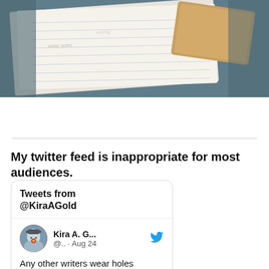[Figure (photo): Top portion of a photo showing notepad pages and a worn book or journal on a dark surface]
My twitter feed is inappropriate for most audiences.
[Figure (screenshot): Embedded Twitter widget showing 'Tweets from @KiraAGold'. Contains a tweet by Kira A. G... (@.. · Aug 24) reading 'Any other writers wear holes through their sleeves at the wrist?' with a profile photo and Twitter bird icon. Below is a partial photo of a dark sleeve.]